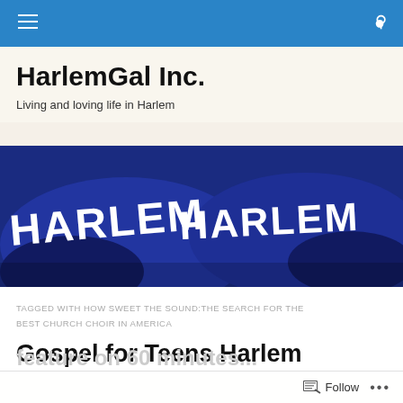HarlemGal Inc. — navigation bar
HarlemGal Inc.
Living and loving life in Harlem
[Figure (photo): Two blue hoodies or jackets with HARLEM written in white block letters on them, shown from the back.]
TAGGED WITH HOW SWEET THE SOUND:THE SEARCH FOR THE BEST CHURCH CHOIR IN AMERICA
Gospel for Teens Harlem
Follow  ...